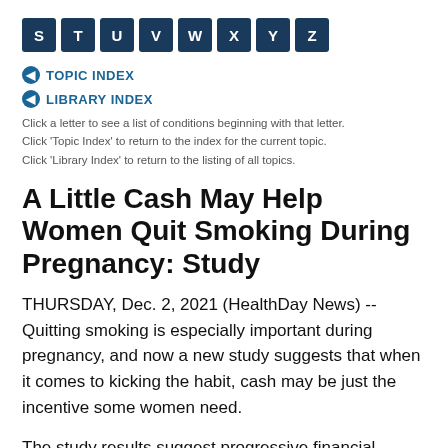S T U V W X Y Z
TOPIC INDEX
LIBRARY INDEX
Click a letter to see a list of conditions beginning with that letter.
Click 'Topic Index' to return to the index for the current topic.
Click 'Library Index' to return to the listing of all topics.
A Little Cash May Help Women Quit Smoking During Pregnancy: Study
THURSDAY, Dec. 2, 2021 (HealthDay News) -- Quitting smoking is especially important during pregnancy, and now a new study suggests that when it comes to kicking the habit, cash may be just the incentive some women need.
The study results suggest progressive financial rewards for smoking abstinence "could be implemented in the routine health care of pregnant smokers," the French